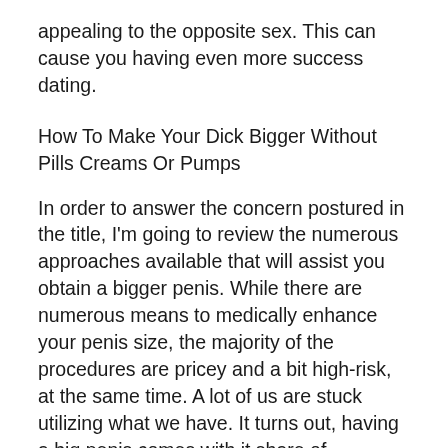appealing to the opposite sex. This can cause you having even more success dating.
How To Make Your Dick Bigger Without Pills Creams Or Pumps
In order to answer the concern postured in the title, I'm going to review the numerous approaches available that will assist you obtain a bigger penis. While there are numerous means to medically enhance your penis size, the majority of the procedures are pricey and a bit high-risk, at the same time. A lot of us are stuck utilizing what we have. It turns out, having a big penis comes with it share of concerns. This article will discuss several of the leading worries individuals have concerning their penises as well as